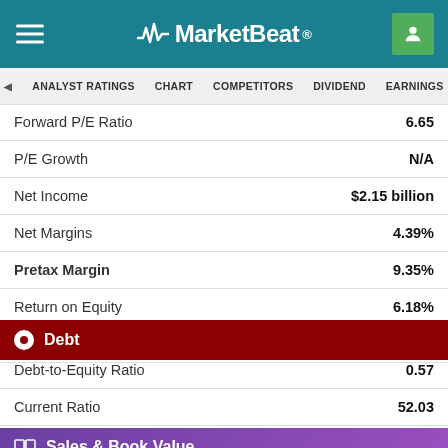MarketBeat
ANALYST RATINGS  CHART  COMPETITORS  DIVIDEND  EARNINGS  HEADL
| Metric | Value |
| --- | --- |
| Forward P/E Ratio | 6.65 |
| P/E Growth | N/A |
| Net Income | $2.15 billion |
| Net Margins | 4.39% |
| Pretax Margin | 9.35% |
| Return on Equity | 6.18% |
| Return on Assets | 2.52% |
Debt
| Metric | Value |
| --- | --- |
| Debt-to-Equity Ratio | 0.57 |
| Current Ratio | 52.03 |
| Quick Ratio | 39.25 |
Sales & Book Value